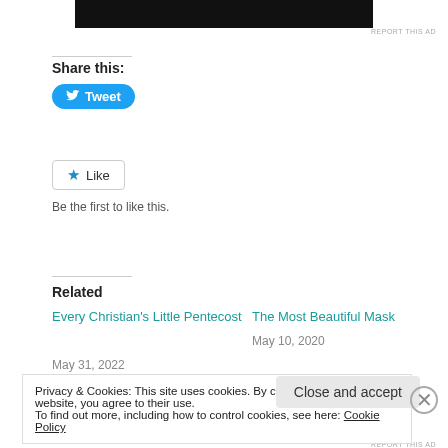[Figure (other): Black image/video thumbnail bar at top of page]
REPORT THIS AD
Share this:
[Figure (other): Twitter Tweet button (blue rounded rectangle with bird icon and Tweet label)]
[Figure (other): Like button (outlined rectangle with star icon and Like label)]
Be the first to like this.
Related
Every Christian's Little Pentecost
May 31, 2022
The Most Beautiful Mask
May 10, 2020
Privacy & Cookies: This site uses cookies. By continuing to use this website, you agree to their use.
To find out more, including how to control cookies, see here: Cookie Policy
Close and accept
REPORT THIS AD